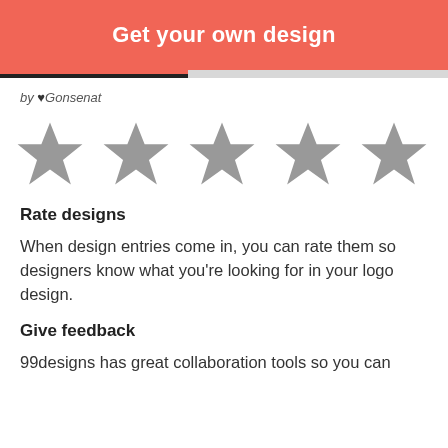Get your own design
[Figure (other): Five grey star rating icons in a row]
by ♥Gonsenat
Rate designs
When design entries come in, you can rate them so designers know what you're looking for in your logo design.
Give feedback
99designs has great collaboration tools so you can